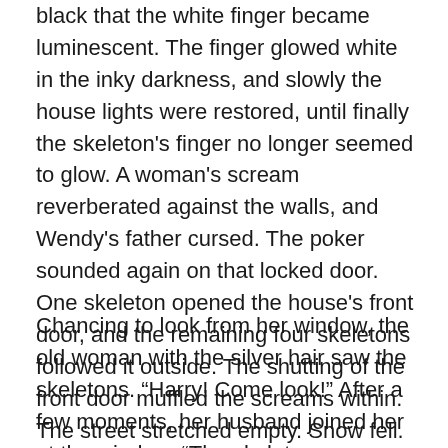black that the white finger became luminescent. The finger glowed white in the inky darkness, and slowly the house lights were restored, until finally the skeleton's finger no longer seemed to glow. A woman's scream reverberated against the walls, and Wendy's father cursed. The poker sounded again on that locked door. One skeleton opened the house's front door, and the remaining four skeletons followed it outside. The shutting of the front door muffled the screams within. The street stretched empty. Snow fell. The snow which had been earlier trampled by boots had become soft dimples by the falling snow. The town's clock, even from a distance, seemed taller.
Chancing to look from her window, the old woman with the silver hair saw the skeletons. “Harry! Come look!” After a few moments, her husband joined her at the window. “The skeletons are going back to their train – it’s only a quarter